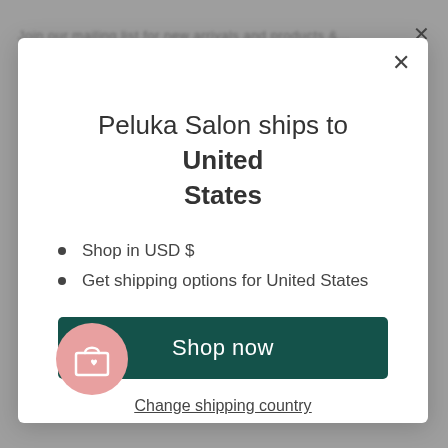Peluka Salon ships to United States
Shop in USD $
Get shipping options for United States
Shop now
Change shipping country